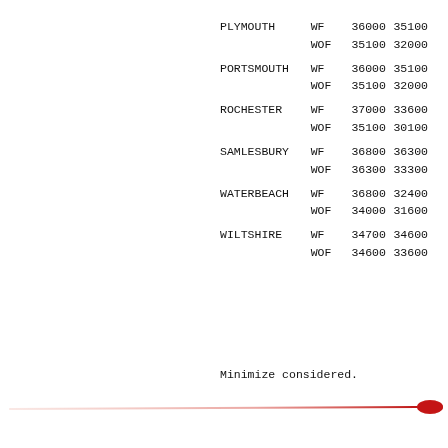| Location | Type | Col1 | Col2 | Col3 |
| --- | --- | --- | --- | --- |
| PLYMOUTH | WF | 36000 | 35100 | 3 |
|  | WOF | 35100 | 32000 | 2 |
| PORTSMOUTH | WF | 36000 | 35100 | 3 |
|  | WOF | 35100 | 32000 | 2 |
| ROCHESTER | WF | 37000 | 33600 | 3 |
|  | WOF | 35100 | 30100 | 2 |
| SAMLESBURY | WF | 36800 | 36300 | 3 |
|  | WOF | 36300 | 33300 | 3 |
| WATERBEACH | WF | 36800 | 32400 | 3 |
|  | WOF | 34000 | 31600 | 2 |
| WILTSHIRE | WF | 34700 | 34600 | 3 |
|  | WOF | 34600 | 33600 | 2 |
Minimize considered.
[Figure (illustration): A thermometer graphic shown diagonally, fading from light red/pink on the left to deep red on the right, pointing toward lower right corner.]